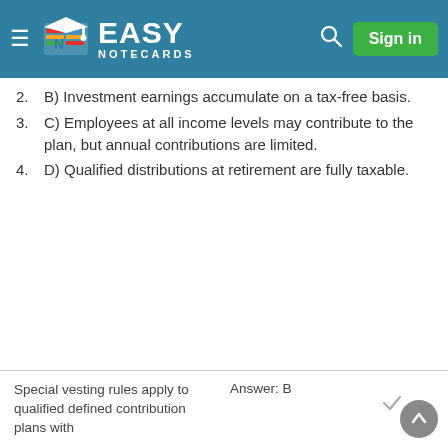Easy Notecards — Sign in
2. B) Investment earnings accumulate on a tax-free basis.
3. C) Employees at all income levels may contribute to the plan, but annual contributions are limited.
4. D) Qualified distributions at retirement are fully taxable.
Special vesting rules apply to qualified defined contribution plans with  Answer: B